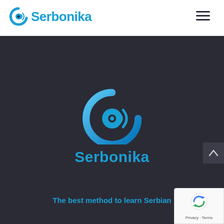Serbonika
[Figure (logo): Serbonika logo — a circular blue speaker/disc icon with sound waves, displayed large in the center of a dark hero section, with the brand name 'Serbonika' below it in blue.]
Serbonika
The best method to learn Serbian
How to learn Serbian?
Learn Solo
[Figure (logo): Google reCAPTCHA badge in bottom-right corner with reCAPTCHA icon and 'Privacy - Terms' text.]